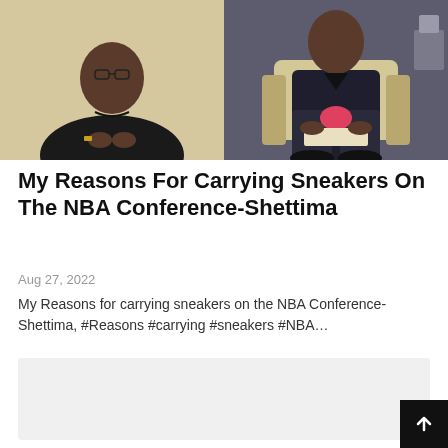[Figure (photo): Two side-by-side photos: left shows a man in a black top against a light yellow background; right shows a man in dark clothing seated in a cream/beige chair.]
My Reasons For Carrying Sneakers On The NBA Conference-Shettima
Aug 27, 2022
My Reasons for carrying sneakers on the NBA Conference-Shettima, #Reasons #carrying #sneakers #NBA…
[Figure (other): Gray placeholder card for a second article preview.]